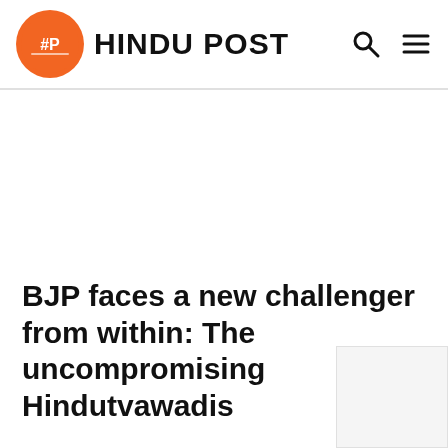HINDU POST
BJP faces a new challenger from within: The uncompromising Hindutvawadis